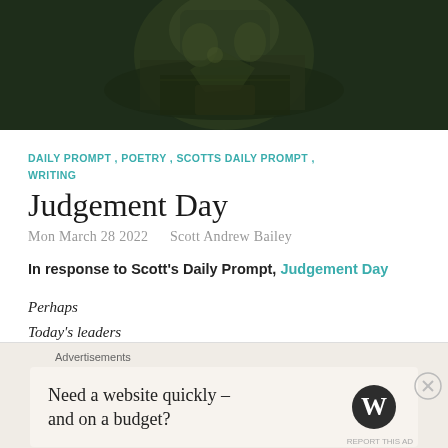[Figure (photo): Dark moody photograph of a person in a suit holding something, with dramatic low-key lighting and greenish tones]
DAILY PROMPT , POETRY , SCOTTS DAILY PROMPT , WRITING
Judgement Day
Mon March 28 2022   Scott Andrew Bailey
In response to Scott's Daily Prompt, Judgement Day
Perhaps
Today's leaders
Don't fear Judgement
Advertisements
Need a website quickly – and on a budget?